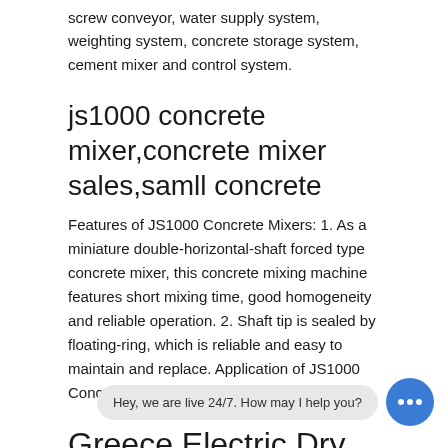screw conveyor, water supply system, weighting system, concrete storage system, cement mixer and control system.
js1000 concrete mixer,concrete mixer sales,samll concrete
Features of JS1000 Concrete Mixers: 1. As a miniature double-horizontal-shaft forced type concrete mixer, this concrete mixing machine features short mixing time, good homogeneity and reliable operation. 2. Shaft tip is sealed by floating-ring, which is reliable and easy to maintain and replace. Application of JS1000 Concrete Mixers:
Greece Electric Dry Mortar Mixer Plant Exporting
Greece Electric Dry Mortar Mixer Plant Exporting Dry Cement Mixer, Dry Cement Mixer Suppliers and . offers 4,027 dry cement mixer products. About 57% of these are dry mortar machines, 15% are concrete mixers, and 12% are mixing equipment. p are available to you, such as . Famous Brand Dry Mortar Mixer Plant